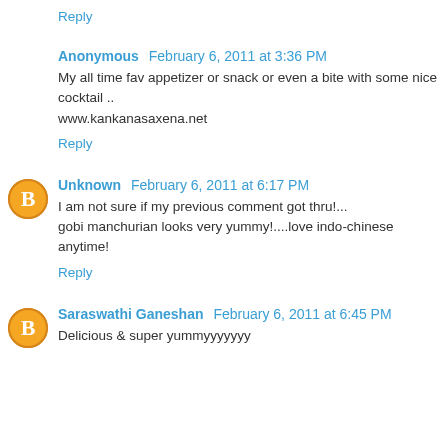Reply
Anonymous  February 6, 2011 at 3:36 PM
My all time fav appetizer or snack or even a bite with some nice cocktail ..
www.kankanasaxena.net
Reply
Unknown  February 6, 2011 at 6:17 PM
I am not sure if my previous comment got thru!...
gobi manchurian looks very yummy!....love indo-chinese anytime!
Reply
Saraswathi Ganeshan  February 6, 2011 at 6:45 PM
Delicious & super yummyyyyyyy